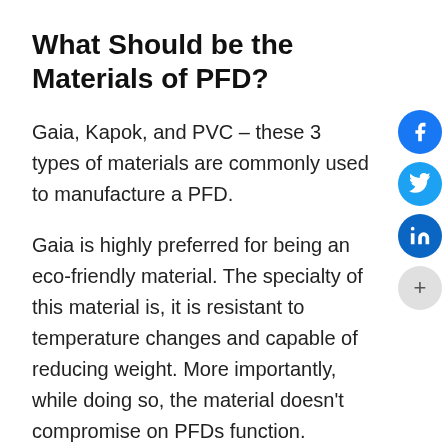What Should be the Materials of PFD?
Gaia, Kapok, and PVC – these 3 types of materials are commonly used to manufacture a PFD.
Gaia is highly preferred for being an eco-friendly material. The specialty of this material is, it is resistant to temperature changes and capable of reducing weight. More importantly, while doing so, the material doesn't compromise on PFDs function.